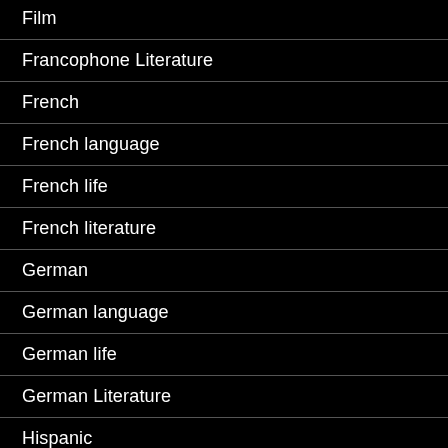Film
Francophone Literature
French
French language
French life
French literature
German
German language
German life
German Literature
Hispanic
Italian
Italian Literature